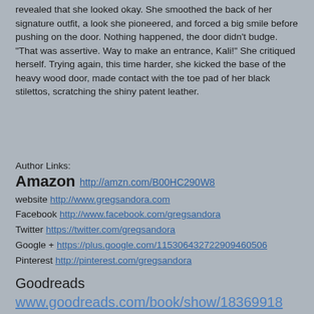revealed that she looked okay. She smoothed the back of her signature outfit, a look she pioneered, and forced a big smile before pushing on the door. Nothing happened, the door didn't budge.
"That was assertive. Way to make an entrance, Kali!" She critiqued herself. Trying again, this time harder, she kicked the base of the heavy wood door, made contact with the toe pad of her black stilettos, scratching the shiny patent leather.
Author Links:
Amazon http://amzn.com/B00HC290W8
website http://www.gregsandora.com
Facebook http://www.facebook.com/gregsandora
Twitter https://twitter.com/gregsandora
Google + https://plus.google.com/115306432722909460506
Pinterest http://pinterest.com/gregsandora

Goodreads www.goodreads.com/book/show/18369918
Book Genre: Supernatural Romance/Thriller